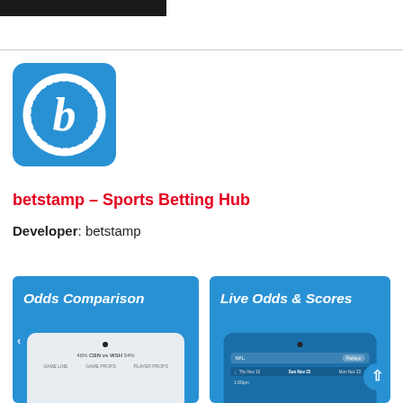[Figure (logo): Black rectangular banner at top of page]
[Figure (logo): betstamp app icon: blue square with white circle containing dashed inner circle and italic white 'b' letter]
betstamp - Sports Betting Hub
Developer: betstamp
[Figure (screenshot): App screenshot on blue background showing 'Odds Comparison' text with phone mockup showing CBN vs WSH odds and game line tabs]
[Figure (screenshot): App screenshot on blue background showing 'Live Odds & Scores' text with phone mockup showing NFL Parlays view with Sun Nov 22 date selected]